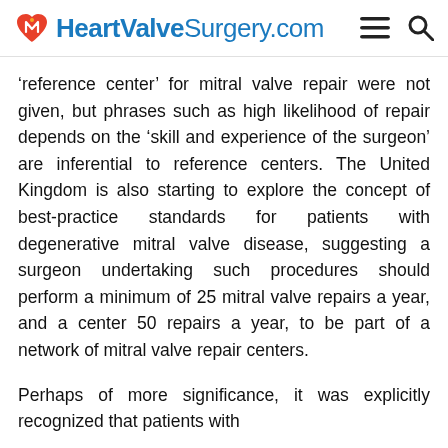HeartValveSurgery.com
‘reference center’ for mitral valve repair were not given, but phrases such as high likelihood of repair depends on the ‘skill and experience of the surgeon’ are inferential to reference centers. The United Kingdom is also starting to explore the concept of best-practice standards for patients with degenerative mitral valve disease, suggesting a surgeon undertaking such procedures should perform a minimum of 25 mitral valve repairs a year, and a center 50 repairs a year, to be part of a network of mitral valve repair centers.
Perhaps of more significance, it was explicitly recognized that patients with